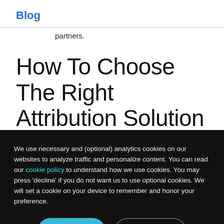Blog
partners.
How To Choose The Right Attribution Solution
We use necessary and (optional) analytics cookies on our websites to analyze traffic and personalize content. You can read our cookie policy to understand how we use cookies. You may press 'decline' if you do not want us to use optional cookies. We will set a cookie on your device to remember and honor your preference.
Accept
Decline